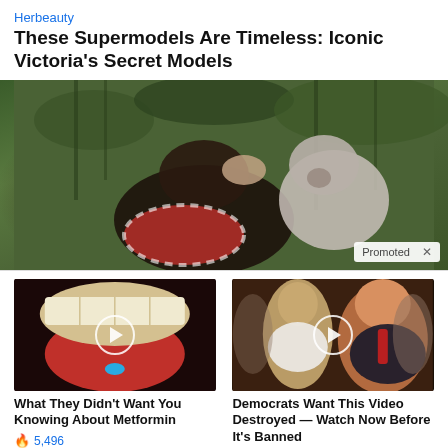Herbeauty
These Supermodels Are Timeless: Iconic Victoria's Secret Models
[Figure (photo): Photo of a person bending over with an animal (possibly a chimpanzee) touching their head, set against a green grassy background. A 'Promoted X' badge appears in the bottom right corner.]
[Figure (photo): Thumbnail of a close-up of a mouth with tongue out holding a blue pill, with a play button overlay.]
What They Didn't Want You Knowing About Metformin
🔥 5,496
[Figure (photo): Thumbnail of two people (appearing to be Melania and Donald Trump) with a play button overlay.]
Democrats Want This Video Destroyed — Watch Now Before It's Banned
🔥 234,550